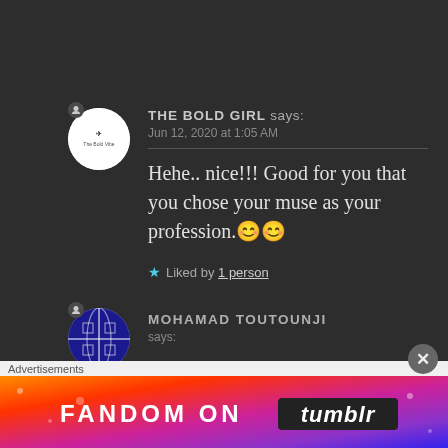[Figure (illustration): Circular avatar with white background showing a small logo of a helicopter and text 'The Bold Vibe']
THE BOLD GIRL says:
Jun 12, 2020 at 1:05 AM
Hehe.. nice!!! Good for you that you chose your muse as your profession.😊😊
★ Liked by 1 person
[Figure (illustration): Circular avatar with dark blue and white geometric/globe pattern]
MOHAMAD TOUTOUNJI says:
Advertisements
[Figure (infographic): Advertisement banner: colorful gradient background with text 'FANDOM ON tumblr']